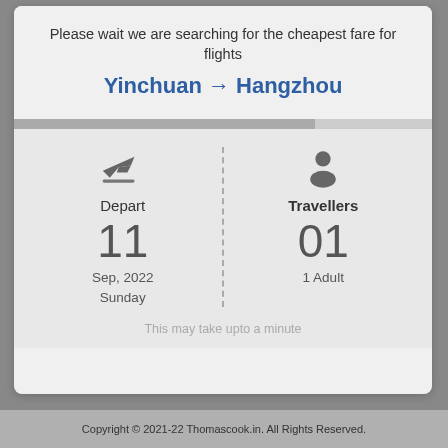Please wait we are searching for the cheapest fare for flights
Yinchuan → Hangzhou
Depart
11
Sep, 2022
Sunday
Travellers
01
1 Adult
This may take upto a minute
Copyright © 2021-22 Thomascook.in. All Rights Reserved.